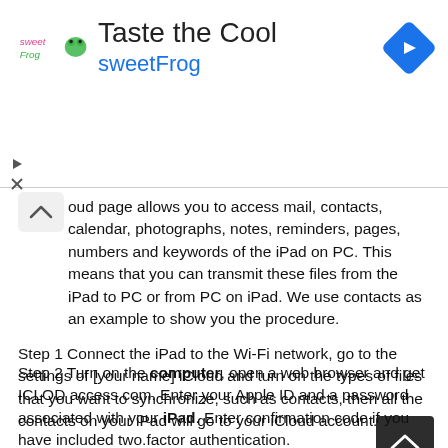[Figure (infographic): Advertisement banner for sweetFrog with logo, title 'Taste the Cool', subtitle 'sweetFrog', and a blue navigation arrow icon on the right]
oud page allows you to access mail, contacts, calendar, photographs, notes, reminders, pages, numbers and keywords of the iPad on PC. This means that you can transmit these files from the iPad to PC or from PC on iPad. We use contacts as an example to show you the procedure.
Step 1 Connect the iPad to the Wi-Fi network, go to the settings of [your name] iCloud and turn on the types of files that you want to synchronize, such as contacts, then all the contacts on your iPad will go to your iCloud account.
Step 2 Turn on the computer, open a web browser and get ICLOD access.com. Enter your Apple ID and a password associated with your iPad. Enter confirmation code if you have included two.factor authentication.